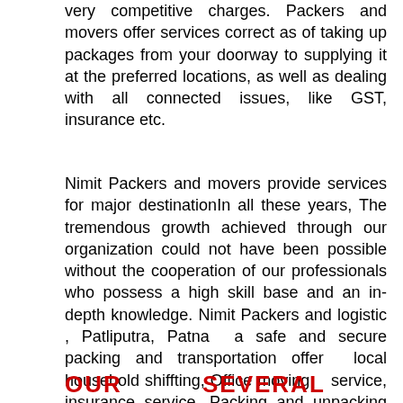very competitive charges. Packers and movers offer services correct as of taking up packages from your doorway to supplying it at the preferred locations, as well as dealing with all connected issues, like GST, insurance etc.
Nimit Packers and movers provide services for major destinationIn all these years, The tremendous growth achieved through our organization could not have been possible without the cooperation of our professionals who possess a high skill base and an in-depth knowledge. Nimit Packers and logistic , Patliputra, Patna a safe and secure packing and transportation offer local household shiffting, Office moving service, insurance service ,Packing and unpacking service, Car Trasportation, Ware housing Moving Services, Bank Relocation etc in Patliputra, Patna.
OUR   SEVERAL   TYPE   OF